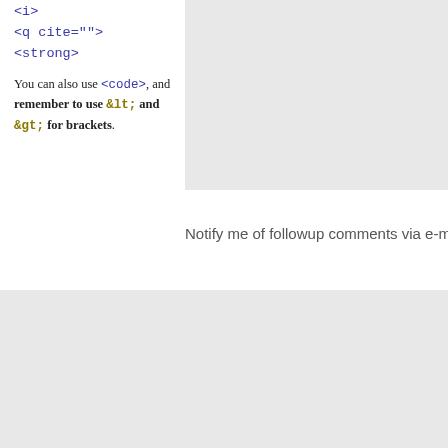<i>
<q cite="">
<strong>
You can also use <code>, and remember to use &lt; and &gt; for brackets.
Notify me of followup comments via e-m
RECENT POSTS
Computer says NO to HTML5 document outline
The woes of date input
HTML Developers: Please Consider
On HTML belts and ARIA braces (The Default